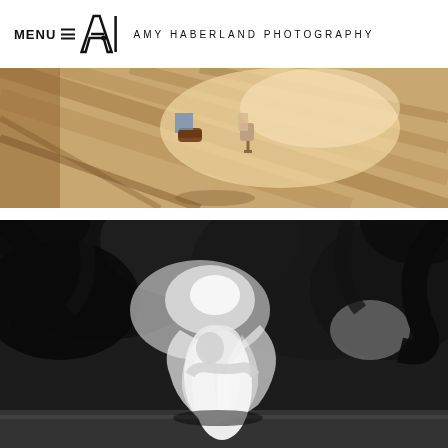MENU ≡   AMY HABERLAND PHOTOGRAPHY
[Figure (photo): Top-down color photo of two people's feet and legs standing on a wooden deck or boardwalk with dramatic sunlight and shadows]
[Figure (photo): Black and white wedding photo of a couple embracing and kissing under a large tree with dramatic backlighting and the bride's veil flowing around them]